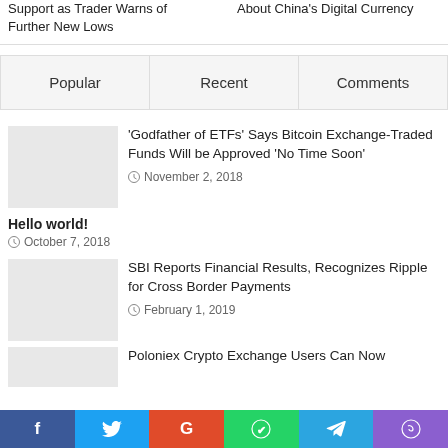Support as Trader Warns of Further New Lows
About China's Digital Currency
| Popular | Recent | Comments |
| --- | --- | --- |
[Figure (photo): Thumbnail image placeholder for ETFs article]
'Godfather of ETFs' Says Bitcoin Exchange-Traded Funds Will be Approved 'No Time Soon'
November 2, 2018
Hello world!
October 7, 2018
[Figure (photo): Thumbnail image placeholder for SBI article]
SBI Reports Financial Results, Recognizes Ripple for Cross Border Payments
February 1, 2019
[Figure (photo): Thumbnail image placeholder for Poloniex article]
Poloniex Crypto Exchange Users Can Now
f  t  G  (whatsapp)  (telegram)  (viber)